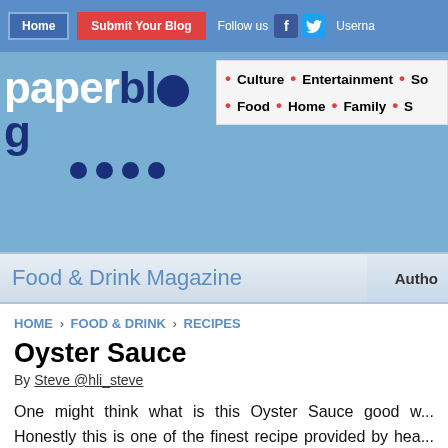Home | Submit Your Blog | Follow us | Username
[Figure (logo): paperblog logo with white 'paper' and dark blue 'blog' text, with dark blue dots below]
Culture · Entertainment · So... · Food · Home · Family · S...
Food & Drink Magazine    Autho...
HOME › FOOD & DRINK › RECIPES
Oyster Sauce
By Steve @hli_steve
One might think what is this Oyster Sauce good w... Honestly this is one of the finest recipe provided by hea... lunch ideas. I have tried this Oyster Sauce on steak...